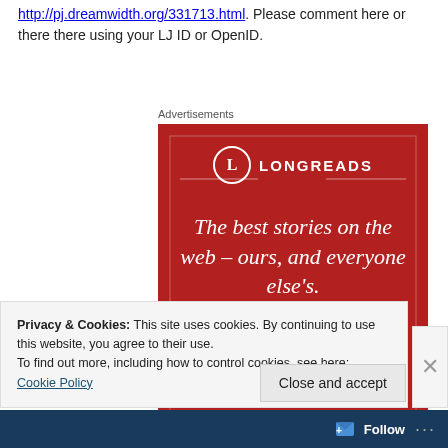http://pj.dreamwidth.org/331713.html. Please comment here or there there using your LJ ID or OpenID.
[Figure (illustration): Longreads advertisement banner on red background with logo, tagline 'The best stories on the web – ours, and everyone else's.' and a 'Start reading' button]
Privacy & Cookies: This site uses cookies. By continuing to use this website, you agree to their use.
To find out more, including how to control cookies, see here: Cookie Policy
Close and accept
Follow ...